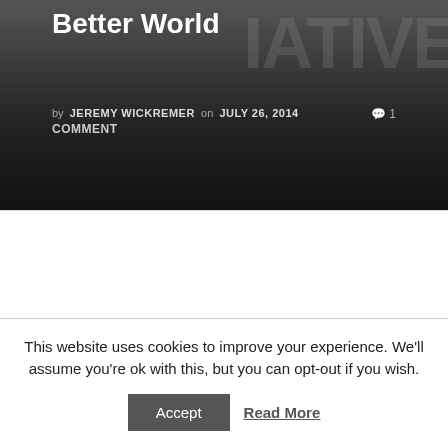[Figure (photo): Dark gradient banner with partial white bold text 'Better World' visible at top left and faded watermark letters on the right side]
by JEREMY WICKREMER on JULY 26, 2014  1 COMMENT
This website uses cookies to improve your experience. We'll assume you're ok with this, but you can opt-out if you wish.
Accept  Read More